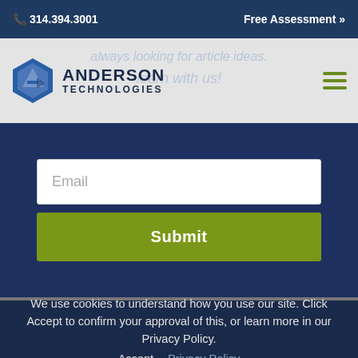📞 314.394.3001    Free Assessment »
[Figure (logo): Anderson Technologies logo with blue hexagon icon and company name text]
always looking for article ideas. learn with us!
Email
Submit
We use cookies to understand how you use our site. Click Accept to confirm your approval of this, or learn more in our Privacy Policy.
Accept
Privacy Policy